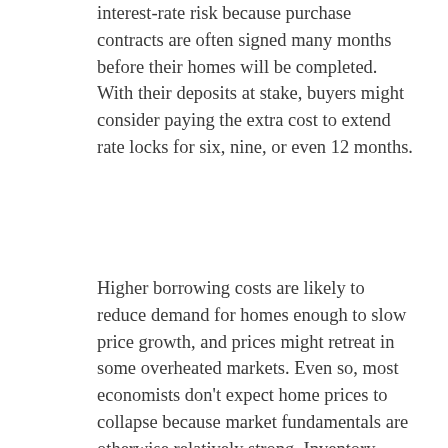interest-rate risk because purchase contracts are often signed many months before their homes will be completed. With their deposits at stake, buyers might consider paying the extra cost to extend rate locks for six, nine, or even 12 months.
Higher borrowing costs are likely to reduce demand for homes enough to slow price growth, and prices might retreat in some overheated markets. Even so, most economists don't expect home prices to collapse because market fundamentals are otherwise relatively strong. Inventory levels are still extremely low, and lenders have generally been conservative, so most homeowners who bought in recent years can afford their mortgages.6 Interest rates don't impact cash buyers, such as downsizing retirees and investors, who account for about 26% of transactions.7 And assuming the economy and employment hold up, there should be plenty of demand from millennials in their peak homebuying years.8